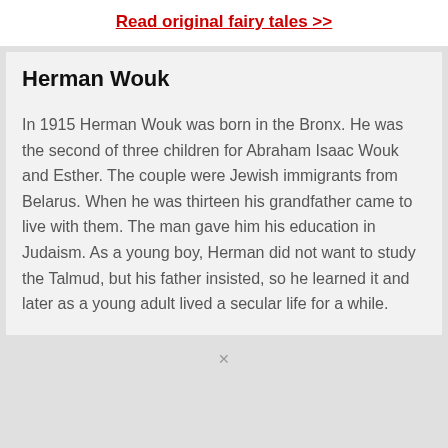Read original fairy tales >>
Herman Wouk
In 1915 Herman Wouk was born in the Bronx. He was the second of three children for Abraham Isaac Wouk and Esther. The couple were Jewish immigrants from Belarus. When he was thirteen his grandfather came to live with them. The man gave him his education in Judaism. As a young boy, Herman did not want to study the Talmud, but his father insisted, so he learned it and later as a young adult lived a secular life for a while.